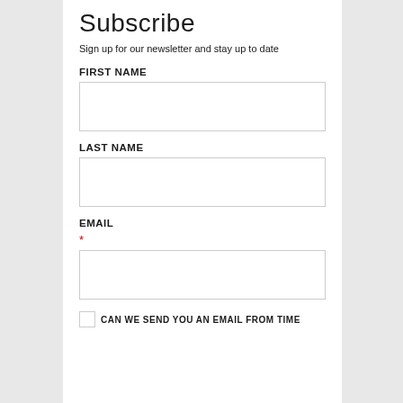Subscribe
Sign up for our newsletter and stay up to date
FIRST NAME
[Figure (other): Empty text input box for First Name field]
LAST NAME
[Figure (other): Empty text input box for Last Name field]
EMAIL
*
[Figure (other): Empty text input box for Email field]
CAN WE SEND YOU AN EMAIL FROM TIME